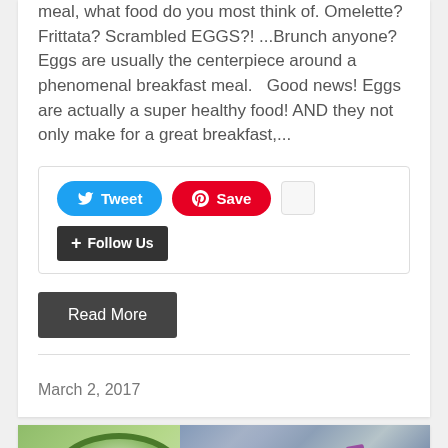meal, what food do you most think of. Omelette? Frittata? Scrambled EGGS?! ...Brunch anyone? Eggs are usually the centerpiece around a phenomenal breakfast meal.   Good news! Eggs are actually a super healthy food! AND they not only make for a great breakfast,...
[Figure (screenshot): Social sharing buttons: Tweet (blue), Save (red Pinterest), share count box, and Follow Us (dark) button]
Read More
March 2, 2017
[Figure (photo): Photo of a sliced green vegetable (possibly kohlrabi or melon) on a wooden board with a purple/blue floral fabric and a purple-handled knife in the background]